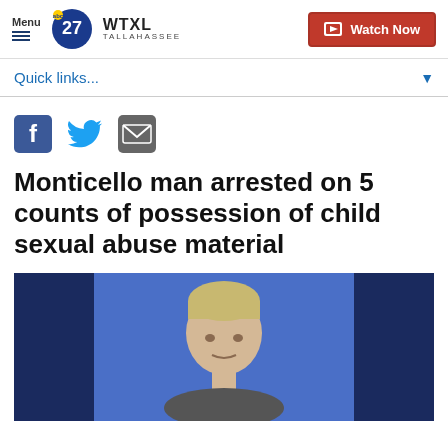Menu | WTXL TALLAHASSEE | Watch Now
Quick links...
[Figure (other): Social media share icons: Facebook, Twitter, Email]
Monticello man arrested on 5 counts of possession of child sexual abuse material
[Figure (photo): Mugshot/booking photo of a young man with light hair against a blue background]